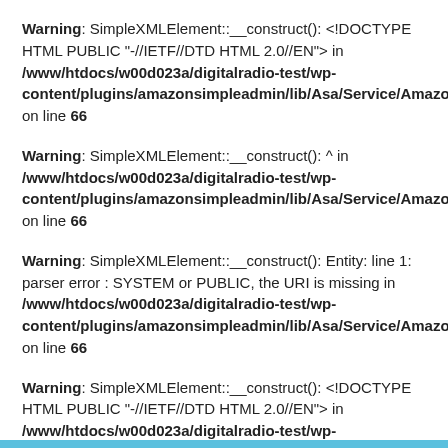Warning: SimpleXMLElement::__construct(): <!DOCTYPE HTML PUBLIC "-//IETF//DTD HTML 2.0//EN"> in /www/htdocs/w00d023a/digitalradio-test/wp-content/plugins/amazonsimpleadmin/lib/Asa/Service/Amazon/Request/Abstract.php on line 66
Warning: SimpleXMLElement::__construct(): ^ in /www/htdocs/w00d023a/digitalradio-test/wp-content/plugins/amazonsimpleadmin/lib/Asa/Service/Amazon/Request/Abstract.php on line 66
Warning: SimpleXMLElement::__construct(): Entity: line 1: parser error : SYSTEM or PUBLIC, the URI is missing in /www/htdocs/w00d023a/digitalradio-test/wp-content/plugins/amazonsimpleadmin/lib/Asa/Service/Amazon/Request/Abstract.php on line 66
Warning: SimpleXMLElement::__construct(): <!DOCTYPE HTML PUBLIC "-//IETF//DTD HTML 2.0//EN"> in /www/htdocs/w00d023a/digitalradio-test/wp-